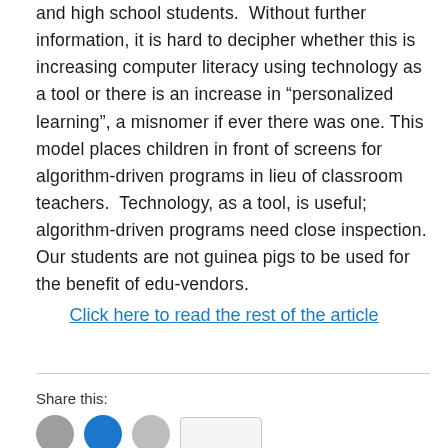and high school students.  Without further information, it is hard to decipher whether this is increasing computer literacy using technology as a tool or there is an increase in “personalized learning”, a misnomer if ever there was one. This model places children in front of screens for algorithm-driven programs in lieu of classroom teachers.  Technology, as a tool, is useful; algorithm-driven programs need close inspection. Our students are not guinea pigs to be used for the benefit of edu-vendors.
Click here to read the rest of the article
Share this: